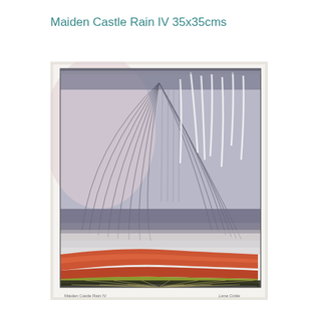Maiden Castle Rain IV 35x35cms
[Figure (illustration): Abstract mixed-media artwork showing a stormy landscape. The upper portion depicts grey/lavender rain or atmospheric streaks falling diagonally downward in a dome-like pattern, with white wispy marks. The lower portion shows layered bands of orange/red, yellow-green earth tones forming a curved hillside, with a cross-hatched dark foreground. The artwork is on white paper with rough deckled edges, signed at the bottom.]